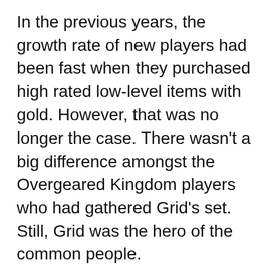In the previous years, the growth rate of new players had been fast when they purchased high rated low-level items with gold. However, that was no longer the case. There wasn't a big difference amongst the Overgeared Kingdom players who had gathered Grid's set. Still, Grid was the hero of the common people.